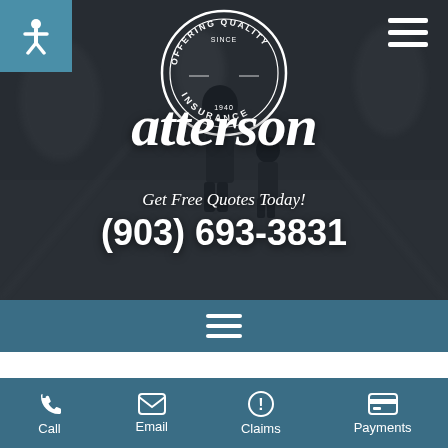[Figure (screenshot): Hero banner with blurred background photo of adult and child walking on a street, dark overlay. Contains Patterson Insurance logo badge (circular badge with 'Offering Quality Since / Patterson / Insurance / 1940'), accessibility icon in teal box top-left, hamburger menu top-right, tagline and phone number.]
Get Free Quotes Today!
(903) 693-3831
[Figure (screenshot): Navigation bar in teal/steel blue with hamburger menu icon centered.]
Safeguarding Your Beloved Pet With Mabank, Texas P...
[Figure (other): Facebook Messenger floating button/bubble (blue circle with white lightning bolt messenger icon)]
Call  Email  Claims  Payments